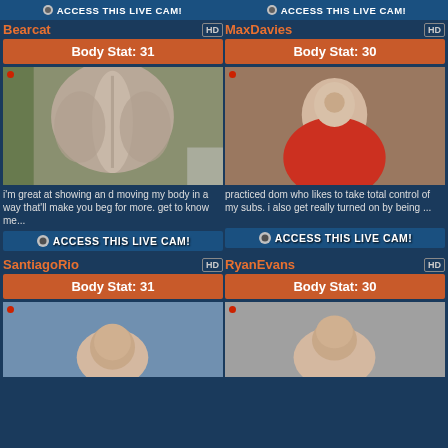ACCESS THIS LIVE CAM! (top banner, Bearcat)
ACCESS THIS LIVE CAM! (top banner, MaxDavies)
Bearcat
MaxDavies
Body Stat: 31
Body Stat: 30
[Figure (photo): Man showing muscular back, arms flexed]
[Figure (photo): Man in red tank top, close up portrait]
i'm great at showing an d moving my body in a way that'll make you beg for more. get to know me...
practiced dom who likes to take total control of my subs. i also get really turned on by being ...
ACCESS THIS LIVE CAM!
ACCESS THIS LIVE CAM!
SantiagoRio
RyanEvans
Body Stat: 31
Body Stat: 30
[Figure (photo): Man's face, partial, outdoor setting]
[Figure (photo): Bald man with beard, indoor setting]